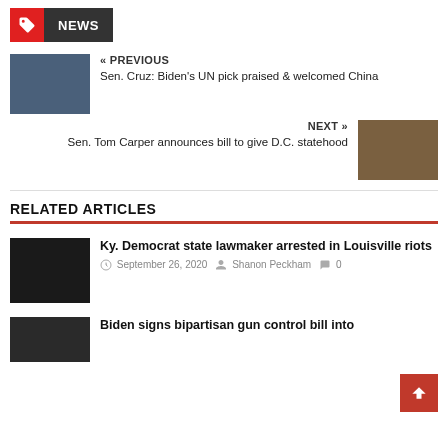NEWS
« PREVIOUS
Sen. Cruz: Biden's UN pick praised & welcomed China
NEXT »
Sen. Tom Carper announces bill to give D.C. statehood
RELATED ARTICLES
Ky. Democrat state lawmaker arrested in Louisville riots
September 26, 2020  Shanon Peckham
Biden signs bipartisan gun control bill into